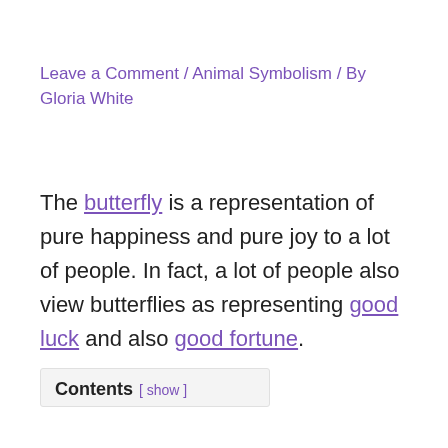Leave a Comment / Animal Symbolism / By Gloria White
The butterfly is a representation of pure happiness and pure joy to a lot of people. In fact, a lot of people also view butterflies as representing good luck and also good fortune.
Contents [ show ]